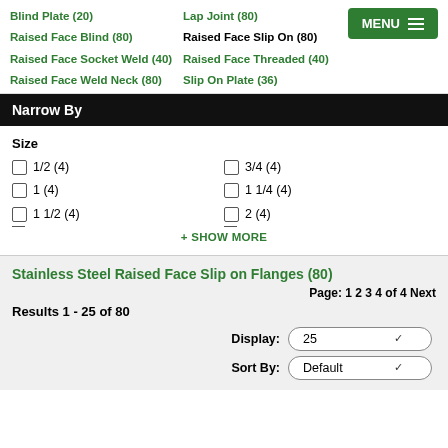Blind Plate (20)
Lap Joint (80)
Raised Face Blind (80)
Raised Face Slip On (80)
Raised Face Socket Weld (40)
Raised Face Threaded (40)
Raised Face Weld Neck (80)
Slip On Plate (36)
Narrow By
Size
1/2 (4)
3/4 (4)
1 (4)
1 1/4 (4)
1 1/2 (4)
2 (4)
+ SHOW MORE
Stainless Steel Raised Face Slip on Flanges (80)
Page: 1 2 3 4 of 4 Next
Results 1 - 25 of 80
Display: 25
Sort By: Default